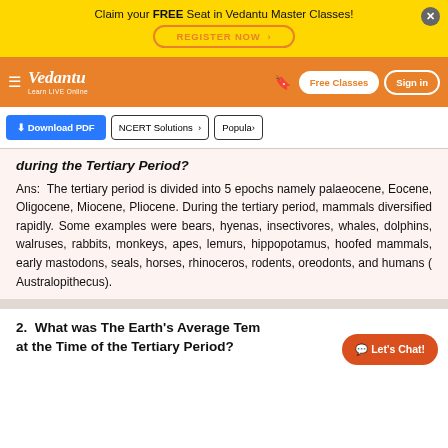Claim your FREE Seat in Vedantu Master Classes! REGISTER NOW
[Figure (logo): Vedantu logo with navigation bar including Free Classes and Sign in buttons]
[Figure (screenshot): Toolbar with Download PDF, NCERT Solutions, and Popular buttons]
during the Tertiary Period?
Ans: The tertiary period is divided into 5 epochs namely palaeocene, Eocene, Oligocene, Miocene, Pliocene. During the tertiary period, mammals diversified rapidly. Some examples were bears, hyenas, insectivores, whales, dolphins, walruses, rabbits, monkeys, apes, lemurs, hippopotamus, hoofed mammals, early mastodons, seals, horses, rhinoceros, rodents, oreodonts, and humans ( Australopithecus).
2. What was The Earth's Average Temperature at the Time of the Tertiary Period?